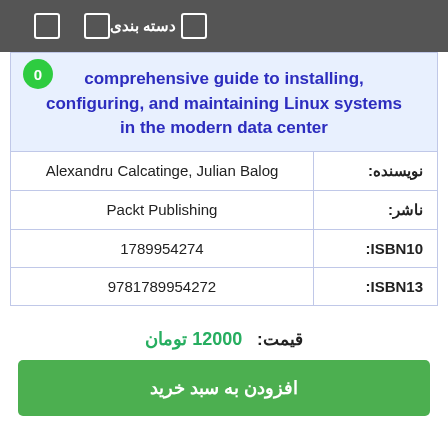دسته بندی
comprehensive guide to installing, configuring, and maintaining Linux systems in the modern data center
| فیلد | مقدار |
| --- | --- |
| نویسنده: | Alexandru Calcatinge, Julian Balog |
| ناشر: | Packt Publishing |
| ISBN10: | 1789954274 |
| ISBN13: | 9781789954272 |
قیمت: 12000 تومان
افزودن به سبد خرید